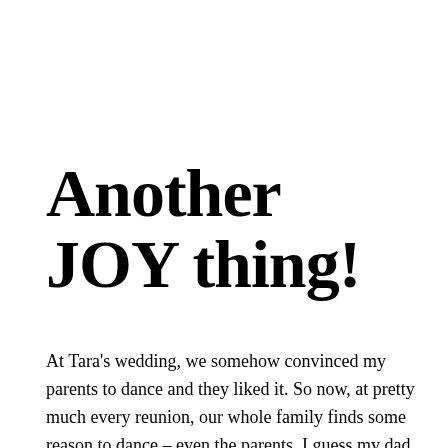Another JOY thing!
At Tara's wedding, we somehow convinced my parents to dance and they liked it.  So now, at pretty much every reunion, our whole family finds some reason to dance – even the parents.  I guess my dad finally did give in, just not in time for me to figure it out.  I am going to try to